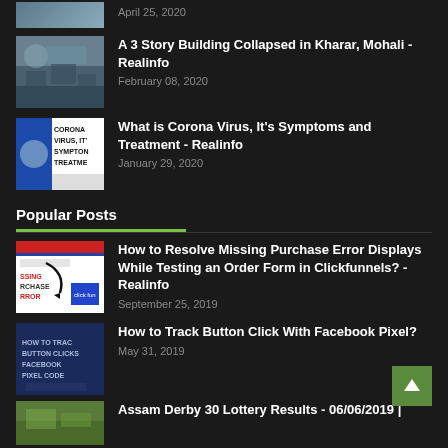April 25, 2020
A 3 Story Building Collapsed in Kharar, Mohali - Realinfo | February 08, 2020
What is Corona Virus, It's Symptoms and Treatment - Realinfo | January 29, 2020
Popular Posts
How to Resolve Missing Purchase Error Displays While Testing an Order Form in Clickfunnels? - Realinfo | September 25, 2019
How to Track Button Click With Facebook Pixel? | May 31, 2019
Assam Derby 30 Lottery Results - 06/06/2019 |